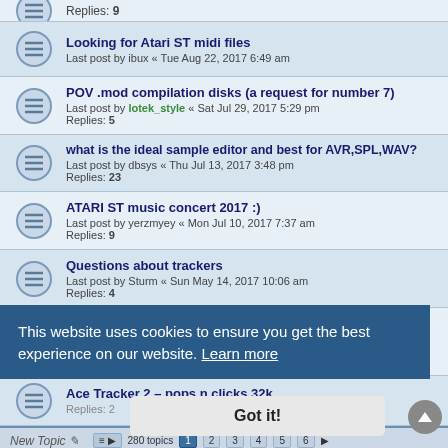Replies: 9
Looking for Atari ST midi files
Last post by ibux « Tue Aug 22, 2017 6:49 am
POV .mod compilation disks (a request for number 7)
Last post by lotek_style « Sat Jul 29, 2017 5:29 pm
Replies: 5
what is the ideal sample editor and best for AVR,SPL,WAV?
Last post by dbsys « Thu Jul 13, 2017 3:48 pm
Replies: 23
ATARI ST music concert 2017 :)
Last post by yerzmyey « Mon Jul 10, 2017 7:37 am
Replies: 9
Questions about trackers
Last post by Sturm « Sun May 14, 2017 10:06 am
Replies: 4
Yerzmyey - "aTTraction" (an album on various ATARI 16/32 computers).
Last post by yerzmyey « Mon Apr 24, 2017 5:07 pm
Replies: 46
Ace Tracker 2 – pops n clicks 32k
Replies: 2
This website uses cookies to ensure you get the best experience on our website. Learn more
Got it!
New Topic   280 topics  1  2  3  4  5  6